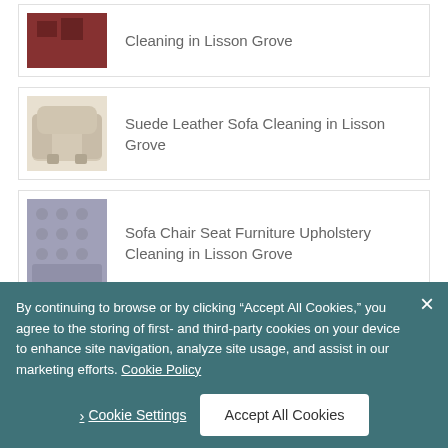Cleaning in Lisson Grove
Suede Leather Sofa Cleaning in Lisson Grove
Sofa Chair Seat Furniture Upholstery Cleaning in Lisson Grove
Domestic & Commercial Window Cleaning in Lisson Grove
By continuing to browse or by clicking “Accept All Cookies,” you agree to the storing of first- and third-party cookies on your device to enhance site navigation, analyze site usage, and assist in our marketing efforts. Cookie Policy
Cookie Settings | Accept All Cookies